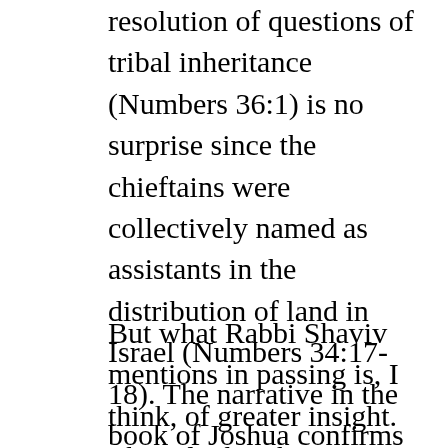resolution of questions of tribal inheritance (Numbers 36:1) is no surprise since the chieftains were collectively named as assistants in the distribution of land in Israel (Numbers 34:17-18). The narrative in the book of Joshua confirms this role (Joshua 19:51). Accordingly, Rabbi Shaviv sees in this authority granted to the leadership the confirmation of the Rabbinic principle that the courts have ultimate authority on property ownership (Babylonian Talmud, Yebamot 89b; Gittin 36b).
But what Rabbi Shaviv mentions in passing is, I think, of greater insight. The role that the chieftains play, according to Rabbi Elazar in the Talmud, is similar to the role played by the